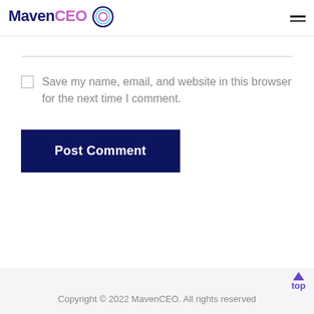MavenCEO
Save my name, email, and website in this browser for the next time I comment.
Post Comment
Copyright © 2022 MavenCEO. All rights reserved